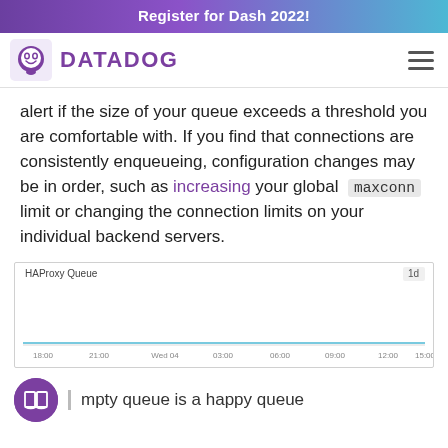Register for Dash 2022!
[Figure (logo): Datadog logo with dog icon and DATADOG wordmark in purple]
alert if the size of your queue exceeds a threshold you are comfortable with. If you find that connections are consistently enqueueing, configuration changes may be in order, such as increasing your global maxconn limit or changing the connection limits on your individual backend servers.
[Figure (screenshot): HAProxy Queue time series chart showing a flat line near zero over a 1-day period, with x-axis timestamps: 18:00, 21:00, Wed 04, 03:00, 06:00, 09:00, 12:00, 15:00]
mpty queue is a happy queue